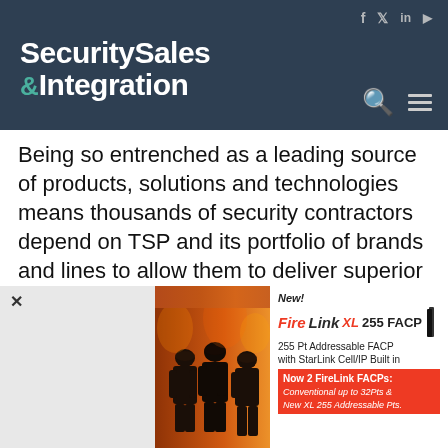Security Sales & Integration
Being so entrenched as a leading source of products, solutions and technologies means thousands of security contractors depend on TSP and its portfolio of brands and lines to allow them to deliver superior safety, productivity, value and convenience to millions of clients. How does TSP aim to continue to accomplish this and possibly even raise the bar higher amid the recent reorganization, acquisition integrations, new partnerships (e.g. Alarm.com and Telular) and set against the backdrop of rapid
[Figure (infographic): Advertisement for FireLink XL 255 FACP. Shows firefighters on left side against orange/red background. Right side has white background with text: New! FireLink XL 255 FACP, 255 Pt Addressable FACP with StarLink Cell/IP Built in. Red banner: Now 2 FireLink FACPs: Conventional up to 32Pts & New XL 255 Addressable Pts.]